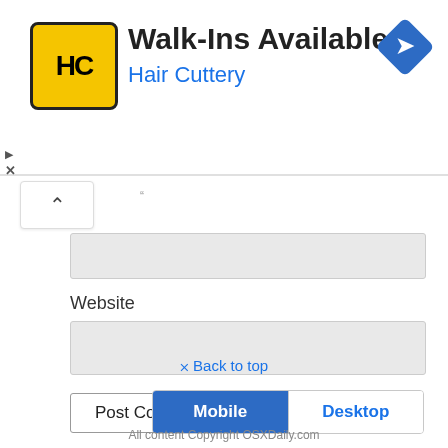[Figure (screenshot): Hair Cuttery advertisement banner with yellow HC logo, 'Walk-Ins Available' heading, 'Hair Cuttery' blue subtitle, and a blue navigation diamond icon on the right.]
[Figure (screenshot): Web form section showing a collapsed accordion button with up-caret, a grayed input field, a 'Website' label, a second grayed input field, and a 'Post Comment' button.]
Back to top
[Figure (screenshot): Mobile/Desktop toggle bar with 'Mobile' selected (blue background) and 'Desktop' unselected (white with blue text).]
All content Copyright OSXDaily.com